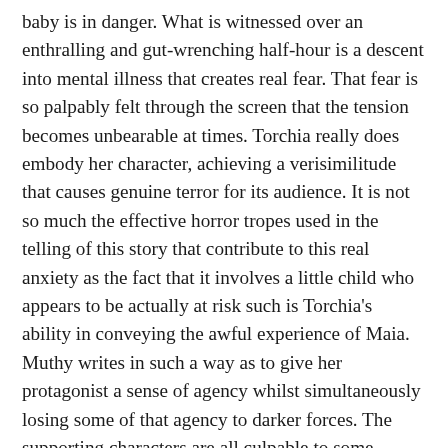baby is in danger. What is witnessed over an enthralling and gut-wrenching half-hour is a descent into mental illness that creates real fear. That fear is so palpably felt through the screen that the tension becomes unbearable at times. Torchia really does embody her character, achieving a verisimilitude that causes genuine terror for its audience. It is not so much the effective horror tropes used in the telling of this story that contribute to this real anxiety as the fact that it involves a little child who appears to be actually at risk such is Torchia's ability in conveying the awful experience of Maia. Muthy writes in such a way as to give her protagonist a sense of agency whilst simultaneously losing some of that agency to darker forces. The supporting characters are all culpable to some degree of ignoring or belittling her awareness that something is not right. The drama thus becomes a kind of rallying cry to all of us to take mental health seriously. It is, in part, a depiction of the consequences of failing to do so adequately. I breathed a huge sigh of relief at the optimism of its final scenes.